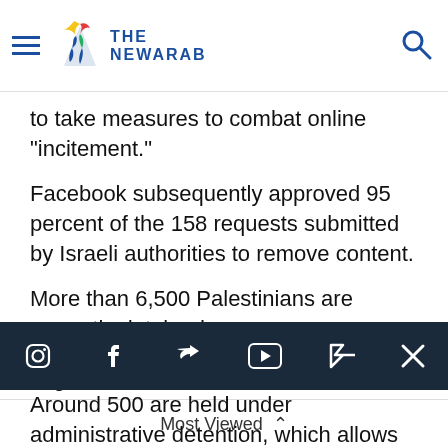The New Arab
to take measures to combat online "incitement."
Facebook subsequently approved 95 percent of the 158 requests submitted by Israeli authorities to remove content.
More than 6,500 Palestinians are currently detained
Around 500 are held under administrative detention, which allows imprisonment without charge.
Tags:
Most Viewed ^